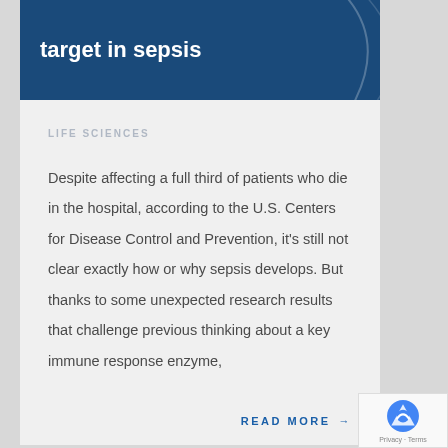target in sepsis
LIFE SCIENCES
Despite affecting a full third of patients who die in the hospital, according to the U.S. Centers for Disease Control and Prevention, it's still not clear exactly how or why sepsis develops. But thanks to some unexpected research results that challenge previous thinking about a key immune response enzyme,
READ MORE →